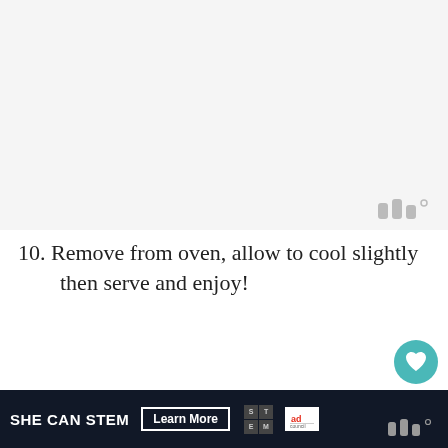[Figure (photo): Gray placeholder area representing a cropped food/recipe photo, with a watermark logo in the bottom right]
10. Remove from oven, allow to cool slightly then serve and enjoy!
[Figure (screenshot): Video thumbnail card for 'VEGAN MAC AND CHEESE (BAK...' with large VEGAN text overlay, avatar, 1.1K count badge, share button, and three-dot menu]
[Figure (other): Ad banner: SHE CAN STEM with Learn More button, STEM grid logo, Ad Council logo, and watermark]